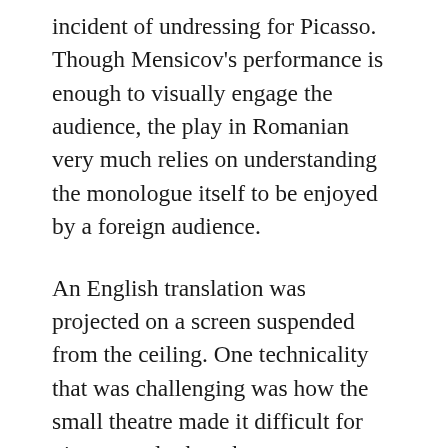incident of undressing for Picasso. Though Mensicov's performance is enough to visually engage the audience, the play in Romanian very much relies on understanding the monologue itself to be enjoyed by a foreign audience.
An English translation was projected on a screen suspended from the ceiling. One technicality that was challenging was how the small theatre made it difficult for viewers to look at the screen without missing the action on stage. A larger stage would have placed the screen further upstage and made it more comfortable. The widow uses another projector to show slides of paintings by her deceased beloved, obsessing over how many portraits are of her. The play runs like one long shot, with scenes from a decade fluidly melting into one another.